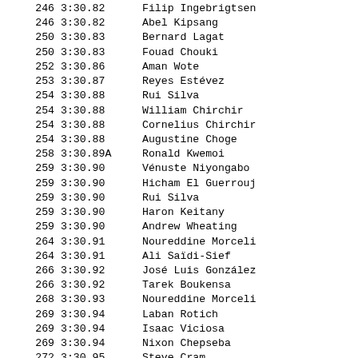| Rank | Time | Name |
| --- | --- | --- |
| 246 | 3:30.82 | Filip Ingebrigtsen |
| 246 | 3:30.82 | Abel Kipsang |
| 250 | 3:30.83 | Bernard Lagat |
| 250 | 3:30.83 | Fouad Chouki |
| 252 | 3:30.86 | Aman Wote |
| 253 | 3:30.87 | Reyes Estévez |
| 254 | 3:30.88 | Rui Silva |
| 254 | 3:30.88 | William Chirchir |
| 254 | 3:30.88 | Cornelius Chirchir |
| 254 | 3:30.88 | Augustine Choge |
| 258 | 3:30.89A | Ronald Kwemoi |
| 259 | 3:30.90 | Vénuste Niyongabo |
| 259 | 3:30.90 | Hicham El Guerrouj |
| 259 | 3:30.90 | Rui Silva |
| 259 | 3:30.90 | Haron Keitany |
| 259 | 3:30.90 | Andrew Wheating |
| 264 | 3:30.91 | Noureddine Morceli |
| 264 | 3:30.91 | Ali Saïdi-Sief |
| 266 | 3:30.92 | José Luis González |
| 266 | 3:30.92 | Tarek Boukensa |
| 268 | 3:30.93 | Noureddine Morceli |
| 269 | 3:30.94 | Laban Rotich |
| 269 | 3:30.94 | Isaac Viciosa |
| 269 | 3:30.94 | Nixon Chepseba |
| 272 | 3:30.95 | Steve Cram |
| 272 | 3:30.95 | Vénuste Niyongabo |
| 272 | 3:30.95 | Noureddine Morceli |
| 275 | 3:30.96 | Mehdi Baala |
| 276 | 3:30.97 | Mehdi Baala |
| 276 | 3:30.97 | Silas Kiplagat |